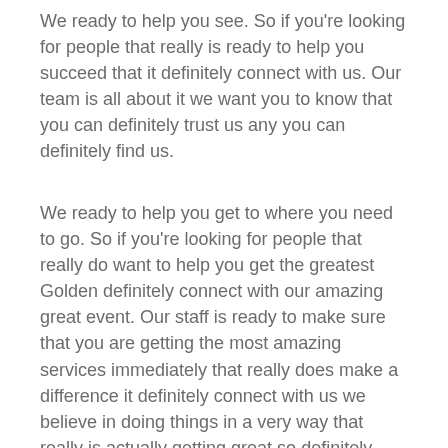We ready to help you see. So if you're looking for people that really is ready to help you succeed that it definitely connect with us. Our team is all about it we want you to know that you can definitely trust us any you can definitely find us.
We ready to help you get to where you need to go. So if you're looking for people that really do want to help you get the greatest Golden definitely connect with our amazing great event. Our staff is ready to make sure that you are getting the most amazing services immediately that really does make a difference it definitely connect with us we believe in doing things in a very way that really is actually getting great so definitely connect with us what you two definitely trust us in a two definitely, when it comes to getting great services in the most amazing zoster really is getting great we believe in doing